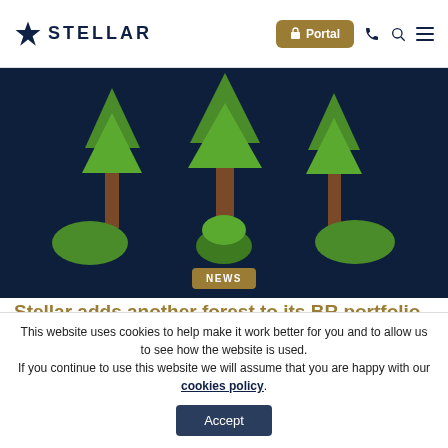STELLAR — Portal navigation
[Figure (illustration): Dark blue background illustration showing trees with brown trunks and green foliage, stylized flat design representing a forest]
NEWS
Stellar adds another forest to its BR portfolio
October 25th 2019 - IHT Services
This website uses cookies to help make it work better for you and to allow us to see how the website is used. If you continue to use this website we will assume that you are happy with our cookies policy.